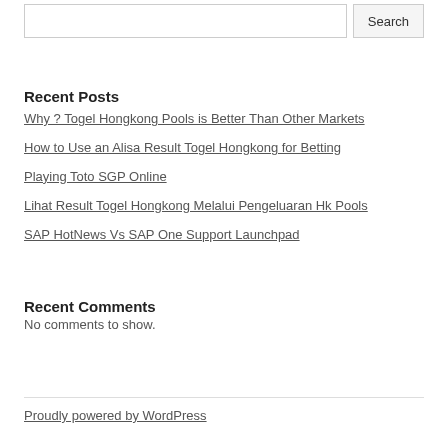Recent Posts
Why ? Togel Hongkong Pools is Better Than Other Markets
How to Use an Alisa Result Togel Hongkong for Betting
Playing Toto SGP Online
Lihat Result Togel Hongkong Melalui Pengeluaran Hk Pools
SAP HotNews Vs SAP One Support Launchpad
Recent Comments
No comments to show.
Proudly powered by WordPress